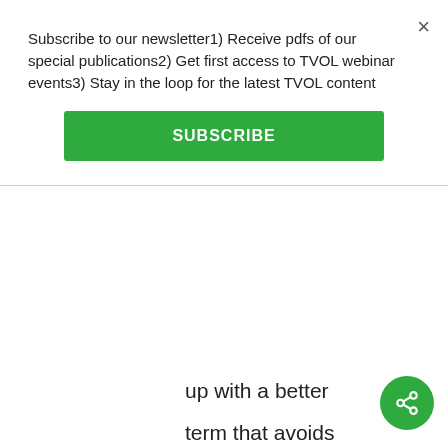Subscribe to our newsletter1) Receive pdfs of our special publications2) Get first access to TVOL webinar events3) Stay in the loop for the latest TVOL content
SUBSCRIBE
up with a better term that avoids loaded words like Social/Socialist/Socialis and Darwin?
[1] Evolution of zoon politikon the